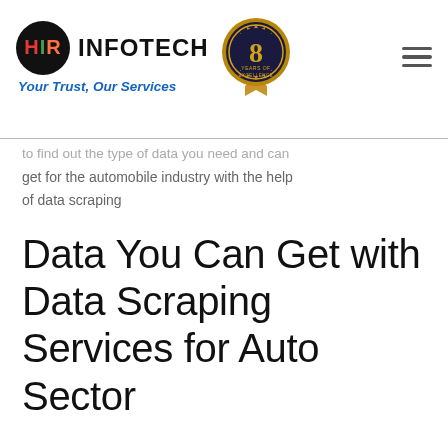[Figure (logo): HIR Infotech logo with circular black badge showing HIR in colored letters (H red, I green, R orange) and INFOTECH text beside it, plus tagline 'Your Trust, Our Services' in blue italic]
[Figure (logo): 8 Years of Excellence gold badge/medallion]
to find out the type of data you need and can get for the automobile industry with the help of data scraping
Data You Can Get with Data Scraping Services for Auto Sector